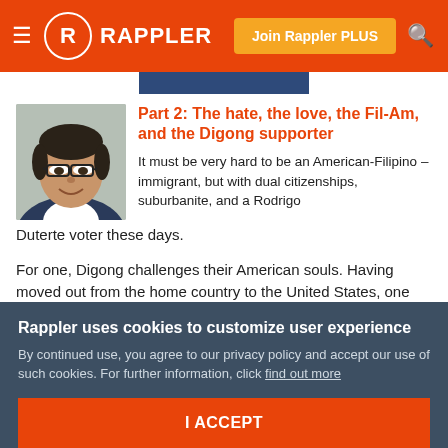Rappler — Join Rappler PLUS
[Figure (screenshot): Blue banner strip at top of article]
[Figure (photo): Author headshot: middle-aged Filipino man with glasses, smiling, wearing a suit]
Part 2: The hate, the love, the Fil-Am, and the Digong supporter
It must be very hard to be an American-Filipino – immigrant, but with dual citizenships, suburbanite, and a Rodrigo Duterte voter these days.
For one, Digong challenges their American souls. Having moved out from the home country to the United States, one
Rappler uses cookies to customize user experience
By continued use, you agree to our privacy policy and accept our use of such cookies. For further information, click find out more
I ACCEPT